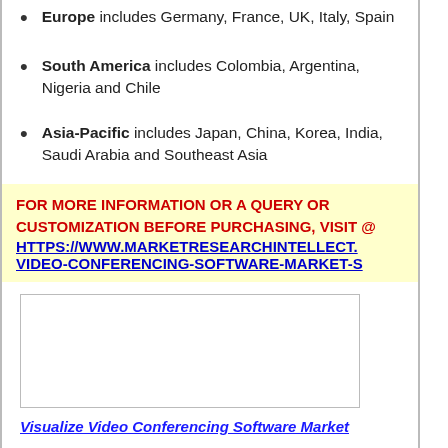Europe includes Germany, France, UK, Italy, Spain
South America includes Colombia, Argentina, Nigeria and Chile
Asia-Pacific includes Japan, China, Korea, India, Saudi Arabia and Southeast Asia
FOR MORE INFORMATION OR A QUERY OR CUSTOMIZATION BEFORE PURCHASING, VISIT @ HTTPS://WWW.MARKETRESEARCHINTELLECT.COM/PRODUCT/VIDEO-CONFERENCING-SOFTWARE-MARKET-S…
[Figure (other): Blank placeholder image box]
Visualize Video Conferencing Software Market…